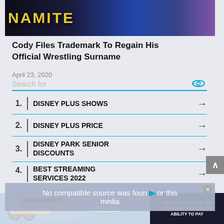[Figure (photo): Top of page showing wrestling event banner with 'NAMITE' text visible on dark background with colorful lighting]
Cody Files Trademark To Regain His Official Wrestling Surname
April 23, 2020
[Figure (screenshot): Search bar widget with 'Search for' placeholder text and eye icon in teal/cyan color]
1. DISNEY PLUS SHOWS →
2. DISNEY PLUS PRICE →
3. DISNEY PARK SENIOR DISCOUNTS →
4. BEST STREAMING SERVICES 2022 →
[Figure (screenshot): Video player overlay showing 'No compatible source was found for this media' error message]
[Figure (photo): Advertisement banner showing an airplane with Southwest Airlines colors and text WITHOUT REGARD TO POLITICS, RELIGION, OR ABILITY TO PAY]